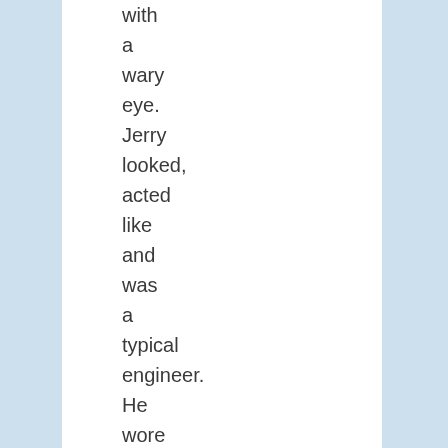with a wary eye. Jerry looked, acted like and was a typical engineer. He wore a white shirt with a tie, no coat,